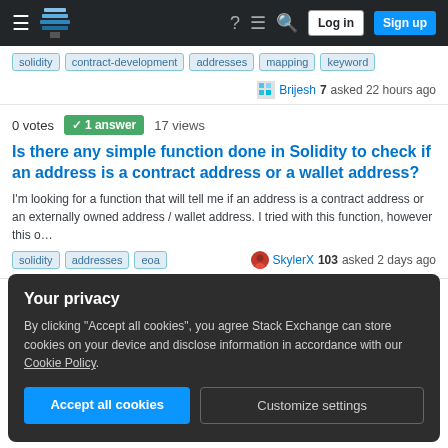Stack Exchange navigation bar with logo, hamburger menu, help, chat, search, Log in, Sign up buttons
Tags: solidity, contract-development, addresses, mapping, keyword
Brijesh 7 asked 22 hours ago
0 votes  ✓ 1 answer  17 views
Is there any simple function done in Solidity to check if an address is a contract address or a wallet address?
I'm looking for a function that will tell me if an address is a contract address or an externally owned address / wallet address. I tried with this function, however this o…
Tags: solidity, addresses, eoa
SkylerX 103 asked 2 days ago
1 vote  0 answers  19 views
Your privacy
By clicking "Accept all cookies", you agree Stack Exchange can store cookies on your device and disclose information in accordance with our Cookie Policy.
Accept all cookies | Customize settings